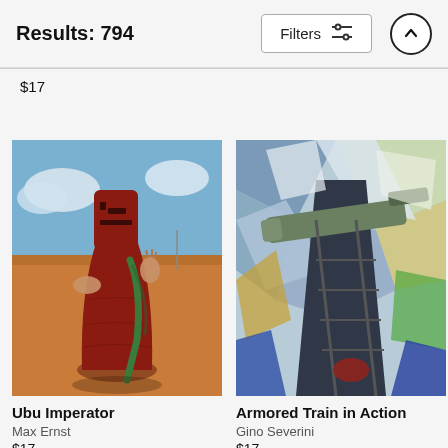Results: 794  Filters  ↑
$17
[Figure (photo): Painting 'Ubu Imperator' by Max Ernst — a surrealist painting of a large red conical/cylindrical figure with a mask-like face standing in a desert landscape, holding a green draping cloth, with a blue sky in background.]
Ubu Imperator
Max Ernst
$17
[Figure (photo): Painting 'Armored Train in Action' by Gino Severini — a futurist painting showing an armored train with a large cannon barrel, depicted with fragmented angular shapes in blue, green, grey, yellow, and white.]
Armored Train in Action
Gino Severini
$17